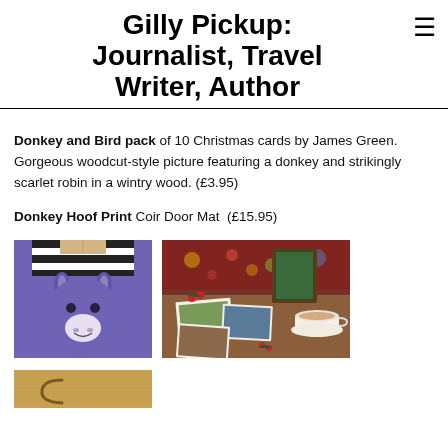Gilly Pickup: Journalist, Travel Writer, Author
Donkey and Bird pack of 10 Christmas cards by James Green. Gorgeous woodcut-style picture featuring a donkey and strikingly scarlet robin in a wintry wood. (£3.95)
Donkey Hoof Print Coir Door Mat  (£15.95)
[Figure (photo): Purple donkey-face novelty socks with black and white striped cuff and a tag at top]
[Figure (photo): Christmas cards spread on a wooden table with a cup of tea and decorations, including donkey-themed photo cards and a framed picture]
[Figure (photo): Partial view of a coir doormat with a donkey hoof print design, tan/brown color]